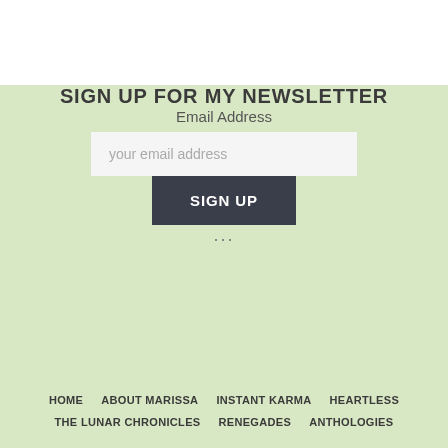SIGN UP FOR MY NEWSLETTER
Email Address
your email address
SIGN UP
...
HOME
ABOUT MARISSA
INSTANT KARMA
HEARTLESS
THE LUNAR CHRONICLES
RENEGADES
ANTHOLOGIES